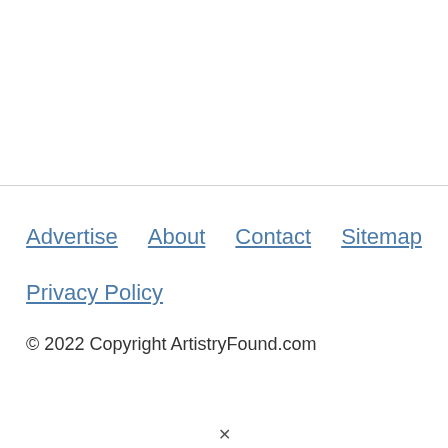Advertise  About  Contact  Sitemap  Privacy Policy  © 2022 Copyright ArtistryFound.com